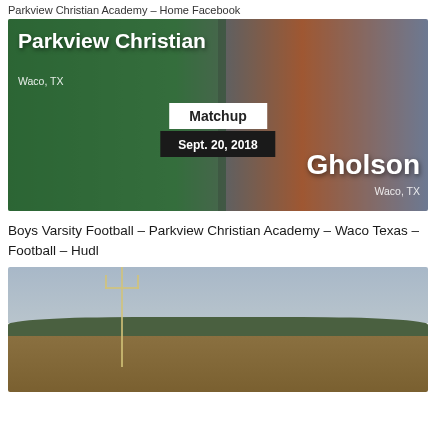Parkview Christian Academy – Home Facebook
[Figure (photo): Football matchup graphic showing Parkview Christian (Waco, TX) vs Gholson (Waco, TX) on Sept. 20, 2018. Left side shows green-tinted football players in Parkview uniforms; right side shows orange-uniformed players. Center has white badge reading 'Matchup' and dark badge reading 'Sept. 20, 2018'.]
Boys Varsity Football – Parkview Christian Academy – Waco Texas – Football – Hudl
[Figure (photo): Outdoor football field photo showing goalpost structure against a cloudy sky with tree line in background.]